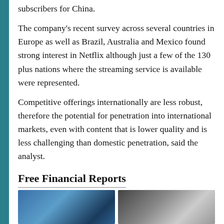subscribers for China.
The company’s recent survey across several countries in Europe as well as Brazil, Australia and Mexico found strong interest in Netflix although just a few of the 130 plus nations where the streaming service is available were represented.
Competitive offerings internationally are less robust, therefore the potential for penetration into international markets, even with content that is lower quality and is less challenging than domestic penetration, said the analyst.
Free Financial Reports
[Figure (photo): Blue-toned photo, left thumbnail]
[Figure (photo): Dark-toned photo, right thumbnail]